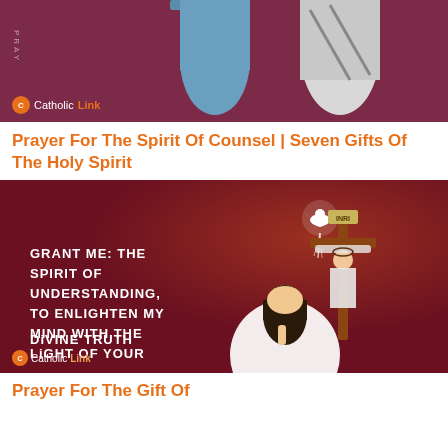[Figure (illustration): Top portion of an illustration on a dark maroon/purple background showing partial figures - appears to be a person in a blue skirt and another figure in white/gray robes, with 'CatholicLink' branding logo at bottom left.]
Prayer For The Spirit Of Counsel | Seven Gifts Of The Holy Spirit
[Figure (illustration): A dark maroon/red background illustration showing a white dove descending from above with light rays, a crucifix on the right side with a figure of Jesus, a woman kneeling in prayer wearing white robes with long dark hair. White bold text reads: 'GRANT ME: THE SPIRIT OF UNDERSTANDING, TO ENLIGHTEN MY MIND WITH THE LIGHT OF YOUR DIVINE TRUTH'. Vertical text on left side reads 'PRAYER TO THE HOLY SPIRIT'. CatholicLink logo at bottom left.]
Prayer For The Gift Of